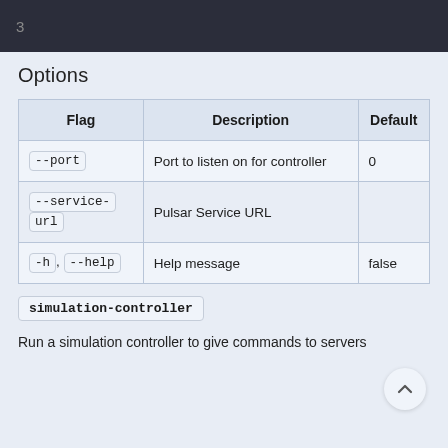3
Options
| Flag | Description | Default |
| --- | --- | --- |
| --port | Port to listen on for controller | 0 |
| --service-url | Pulsar Service URL |  |
| -h, --help | Help message | false |
simulation-controller
Run a simulation controller to give commands to servers